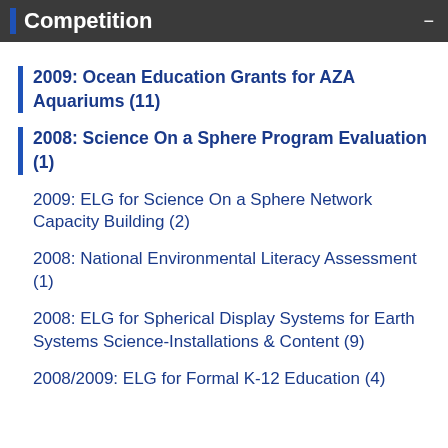Competition
2009: Ocean Education Grants for AZA Aquariums (11)
2008: Science On a Sphere Program Evaluation (1)
2009: ELG for Science On a Sphere Network Capacity Building (2)
2008: National Environmental Literacy Assessment (1)
2008: ELG for Spherical Display Systems for Earth Systems Science-Installations & Content (9)
2008/2009: ELG for Formal K-12 Education (4)